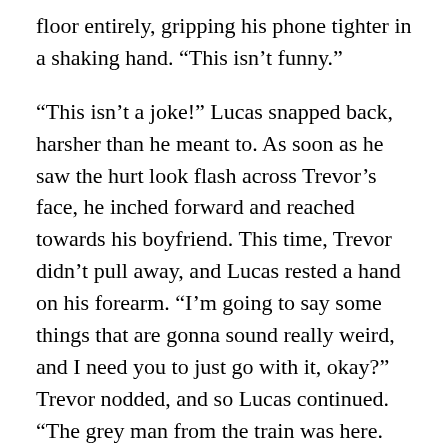floor entirely, gripping his phone tighter in a shaking hand. “This isn’t funny.”
“This isn’t a joke!” Lucas snapped back, harsher than he meant to. As soon as he saw the hurt look flash across Trevor’s face, he inched forward and reached towards his boyfriend. This time, Trevor didn’t pull away, and Lucas rested a hand on his forearm. “I’m going to say some things that are gonna sound really weird, and I need you to just go with it, okay?” Trevor nodded, and so Lucas continued. “The grey man from the train was here. He knows where I live. He may be coming after you next. That’s why I told you to run.”
“Did he say who he was?”